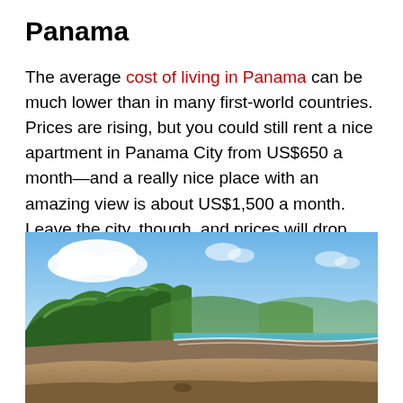Panama
The average cost of living in Panama can be much lower than in many first-world countries. Prices are rising, but you could still rent a nice apartment in Panama City from US$650 a month—and a really nice place with an amazing view is about US$1,500 a month. Leave the city, though, and prices will drop considerably.
[Figure (photo): A wide sandy beach in Panama with calm ocean waves, lush green trees and hills on the left side, and a blue sky with white clouds above.]